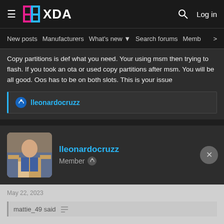XDA Forums navigation bar with logo, search, and Log in
New posts  Manufacturers  What's new  Search forums  Members  >
Copy partitions is def what you need. Your using msm then trying to flash. If you took an ota or used copy partitions after msm. You will be all good. Oos has to be on both slots. This is your issue
lleonardocruzz
lleonardocruzz
Member
May 22, 2023
mattie_49 said